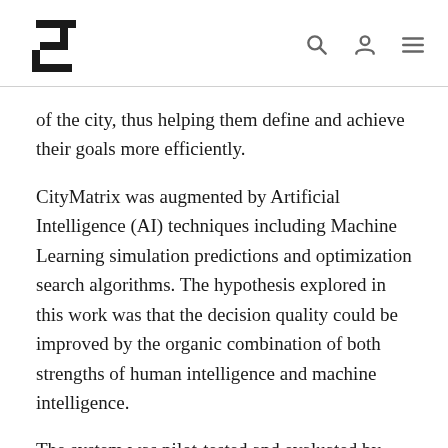[Logo] [search icon] [user icon] [menu icon]
of the city, thus helping them define and achieve their goals more efficiently.
CityMatrix was augmented by Artificial Intelligence (AI) techniques including Machine Learning simulation predictions and optimization search algorithms. The hypothesis explored in this work was that the decision quality could be improved by the organic combination of both strengths of human intelligence and machine intelligence.
The system was pilot-tested and evaluated by